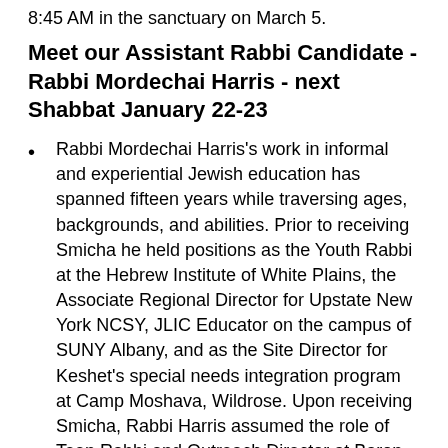8:45 AM in the sanctuary on March 5.
Meet our Assistant Rabbi Candidate - Rabbi Mordechai Harris - next Shabbat January 22-23
Rabbi Mordechai Harris's work in informal and experiential Jewish education has spanned fifteen years while traversing ages, backgrounds, and abilities. Prior to receiving Smicha he held positions as the Youth Rabbi at the Hebrew Institute of White Plains, the Associate Regional Director for Upstate New York NCSY, JLIC Educator on the campus of SUNY Albany, and as the Site Director for Keshet's special needs integration program at Camp Moshava, Wildrose. Upon receiving Smicha, Rabbi Harris assumed the role of Teen Rabbi and Outreach Director at Baron Hirsch Congregation in Memphis, Tennessee while also serving on the Judaic Studies faculty for the local community day school.
Rabbi Harris will speak Friday night (January 22) and during both services on Saturday morning